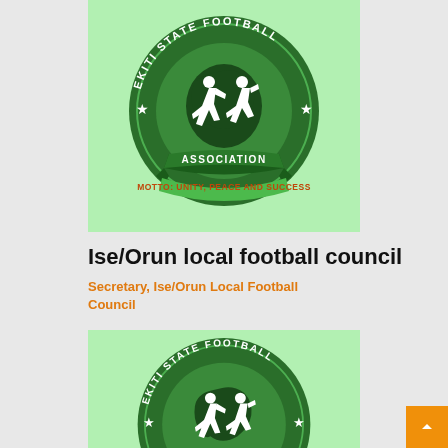[Figure (logo): Ekiti State Football Association circular logo on light green background. Green circular emblem with two white silhouette football players, a map shape behind them, stars on left and right, text 'EKITI STATE FOOTBALL' around top arc and 'ASSOCIATION' on banner below, with green ribbon banner reading 'MOTTO: UNITY, PEACE AND SUCCESS' in orange/red text.]
Ise/Orun local football council
Secretary, Ise/Orun Local Football Council
[Figure (logo): Partial Ekiti State Football Association circular logo on light green background, same as above but cropped showing only top portion of the circular emblem.]